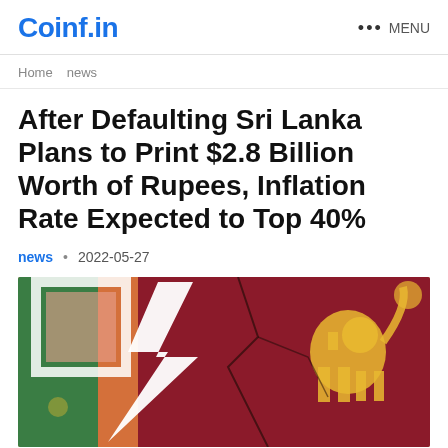Coinf.in   ••• MENU
Home   news
After Defaulting Sri Lanka Plans to Print $2.8 Billion Worth of Rupees, Inflation Rate Expected to Top 40%
news • 2022-05-27
[Figure (photo): Sri Lanka flag with a cracked texture overlay and a white zigzag lightning bolt symbol on top, symbolizing economic crisis]